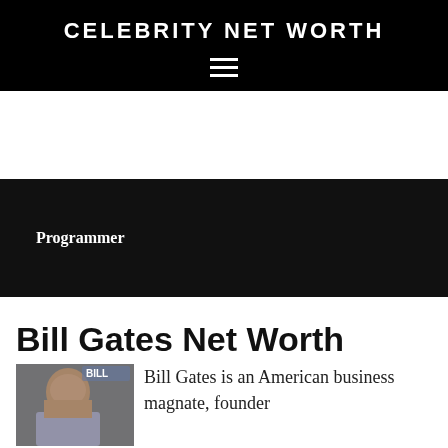CELEBRITY NET WORTH
[Figure (other): Dark banner with text 'Programmer' in white bold serif font]
Bill Gates Net Worth
[Figure (photo): Photo of Bill Gates with 'BILL' label overlay]
Bill Gates is an American business magnate, founder